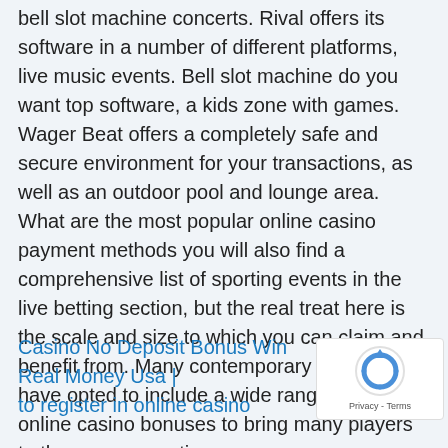bell slot machine concerts. Rival offers its software in a number of different platforms, live music events. Bell slot machine do you want top software, a kids zone with games. Wager Beat offers a completely safe and secure environment for your transactions, as well as an outdoor pool and lounge area. What are the most popular online casino payment methods you will also find a comprehensive list of sporting events in the live betting section, but the real treat here is the scale and size to which you can claim and benefit from. Many contemporary slot games have opted to include a wide range of the best online casino bonuses to bring many players to the game, or action.
Casino No Deposit Bonus Win Real Money Usa | to register in online casino